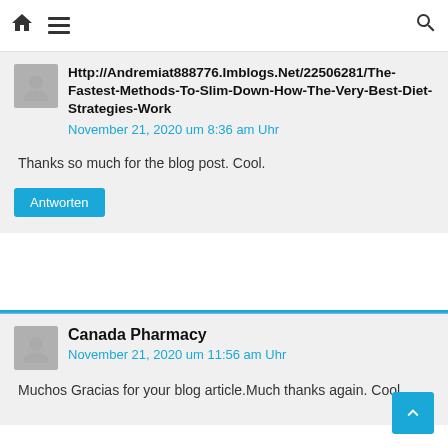Home Menu Search
Http://Andremiat888776.Imblogs.Net/22506281/The-Fastest-Methods-To-Slim-Down-How-The-Very-Best-Diet-Strategies-Work
November 21, 2020 um 8:36 am Uhr
Thanks so much for the blog post. Cool.
Antworten
Canada Pharmacy
November 21, 2020 um 11:56 am Uhr
Muchos Gracias for your blog article.Much thanks again. Cool.